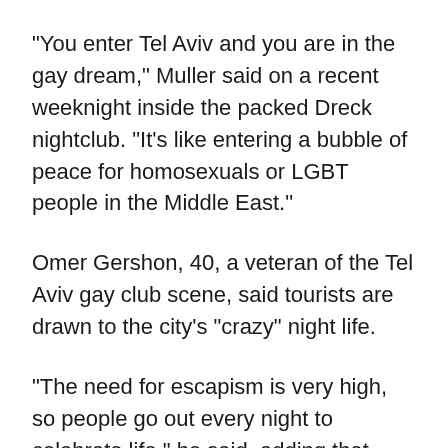"You enter Tel Aviv and you are in the gay dream," Muller said on a recent weeknight inside the packed Dreck nightclub. "It's like entering a bubble of peace for homosexuals or LGBT people in the Middle East."
Omer Gershon, 40, a veteran of the Tel Aviv gay club scene, said tourists are drawn to the city's "crazy" night life.
"The need for escapism is very high, so people go out every night to celebrate life," he said, adding that tourists find Israeli men "very exotic."
Things are very different just an hour away in Jerusalem, where two-thirds of the city's 800,000 residents come from the ultra Orthodox Jewish or Arab